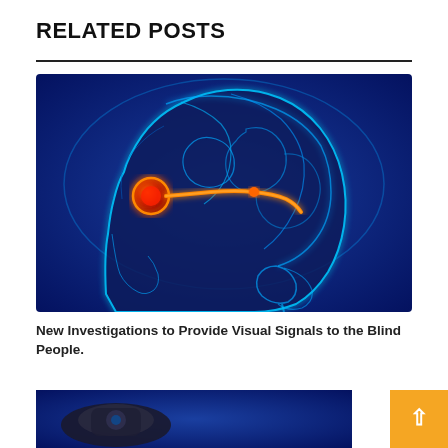RELATED POSTS
[Figure (illustration): Medical illustration of a human head in profile showing the brain and optic nerve highlighted in glowing blue tones with the eye and optical pathway highlighted in orange/red, on a dark blue background.]
New Investigations to Provide Visual Signals to the Blind People.
[Figure (photo): Partial view of a second related post image showing what appears to be a dark mechanical or robotic object on a blue background.]